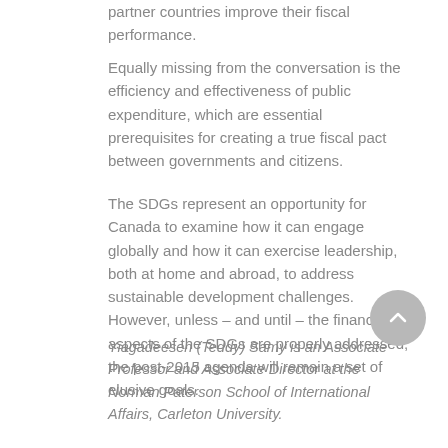partner countries improve their fiscal performance.
Equally missing from the conversation is the efficiency and effectiveness of public expenditure, which are essential prerequisites for creating a true fiscal pact between governments and citizens.
The SDGs represent an opportunity for Canada to examine how it can engage globally and how it can exercise leadership, both at home and abroad, to address sustainable development challenges. However, unless – and until – the financial aspects of the SDGs are properly addressed, the post-2015 agenda will remain a set of elusive goals.
Yiagadeesen (Teddy) Samy is an Associate Professor and Associate Director at the Norman Paterson School of International Affairs, Carleton University.